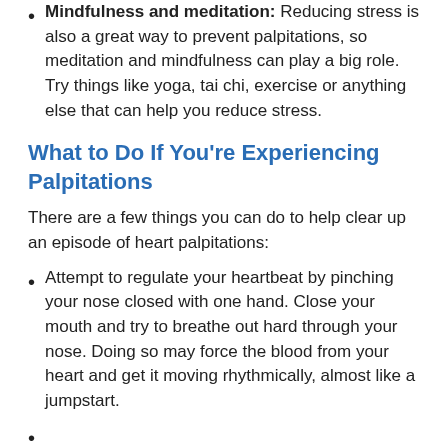Mindfulness and meditation: Reducing stress is also a great way to prevent palpitations, so meditation and mindfulness can play a big role. Try things like yoga, tai chi, exercise or anything else that can help you reduce stress.
What to Do If You’re Experiencing Palpitations
There are a few things you can do to help clear up an episode of heart palpitations:
Attempt to regulate your heartbeat by pinching your nose closed with one hand. Close your mouth and try to breathe out hard through your nose. Doing so may force the blood from your heart and get it moving rhythmically, almost like a jumpstart.